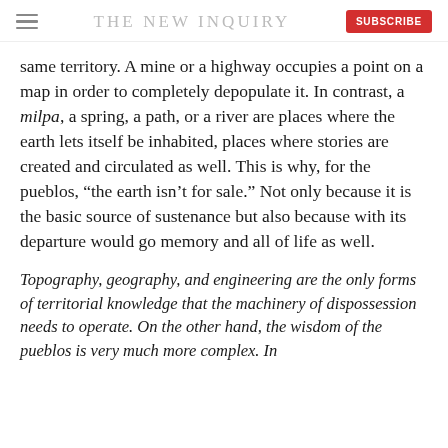THE NEW INQUIRY
same territory. A mine or a highway occupies a point on a map in order to completely depopulate it. In contrast, a milpa, a spring, a path, or a river are places where the earth lets itself be inhabited, places where stories are created and circulated as well. This is why, for the pueblos, “the earth isn’t for sale.” Not only because it is the basic source of sustenance but also because with its departure would go memory and all of life as well.
Topography, geography, and engineering are the only forms of territorial knowledge that the machinery of dispossession needs to operate. On the other hand, the wisdom of the pueblos is very much more complex. In